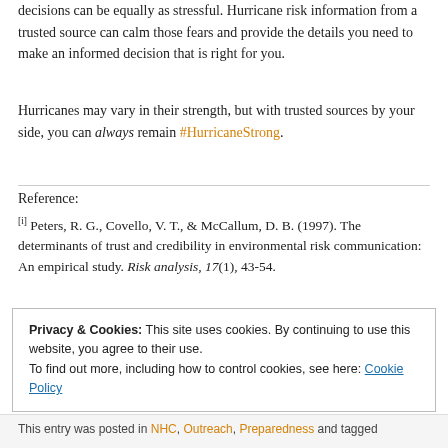decisions can be equally as stressful. Hurricane risk information from a trusted source can calm those fears and provide the details you need to make an informed decision that is right for you.
Hurricanes may vary in their strength, but with trusted sources by your side, you can always remain #HurricaneStrong.
Reference:
[i] Peters, R. G., Covello, V. T., & McCallum, D. B. (1997). The determinants of trust and credibility in environmental risk communication: An empirical study. Risk analysis, 17(1), 43-54.
Privacy & Cookies: This site uses cookies. By continuing to use this website, you agree to their use. To find out more, including how to control cookies, see here: Cookie Policy
Close and accept
This entry was posted in NHC, Outreach, Preparedness and tagged